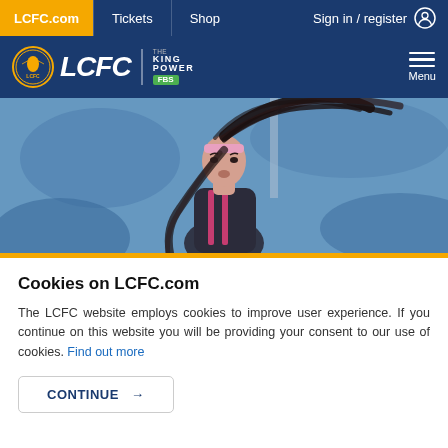LCFC.com | Tickets | Shop | Sign in / register
[Figure (logo): LCFC Leicester City Football Club header with King Power FBS sponsor logo and hamburger menu]
[Figure (photo): Female footballer with long dark hair flowing, wearing pink headband and dark jersey with pink stripes, action shot against blue blurred background]
Cookies on LCFC.com
The LCFC website employs cookies to improve user experience. If you continue on this website you will be providing your consent to our use of cookies. Find out more
CONTINUE →